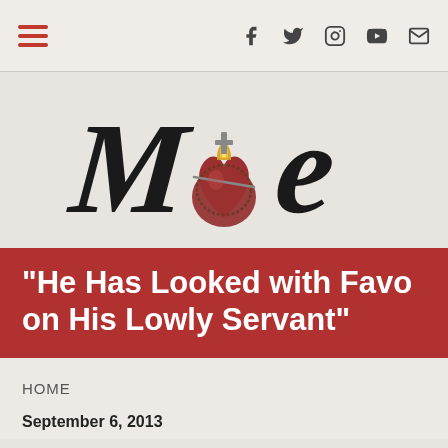Navigation bar with hamburger menu and social icons (f, twitter, instagram, youtube, mail)
[Figure (logo): Website logo showing stylized handwritten text 'MoMe' with a Sacred Heart illustration in the center]
“He Has Looked with Favor on His Lowly Servant”
HOME
September 6, 2013